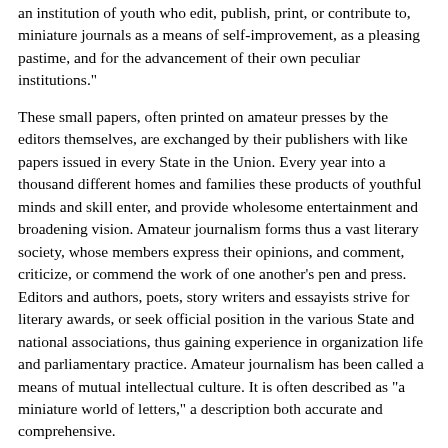an institution of youth who edit, publish, print, or contribute to, miniature journals as a means of self-improvement, as a pleasing pastime, and for the advancement of their own peculiar institutions."
These small papers, often printed on amateur presses by the editors themselves, are exchanged by their publishers with like papers issued in every State in the Union. Every year into a thousand different homes and families these products of youthful minds and skill enter, and provide wholesome entertainment and broadening vision. Amateur journalism forms thus a vast literary society, whose members express their opinions, and comment, criticize, or commend the work of one another's pen and press. Editors and authors, poets, story writers and essayists strive for literary awards, or seek official position in the various State and national associations, thus gaining experience in organization life and parliamentary practice. Amateur journalism has been called a means of mutual intellectual culture. It is often described as "a miniature world of letters," a description both accurate and comprehensive.
As its name indicates, these papers are not published for financial gain. The word amateur comes from amator, the lover. James M. Beck, in later life Congressman and Solicitor-General of the United States, when an amateur journalist in his youth said: "The